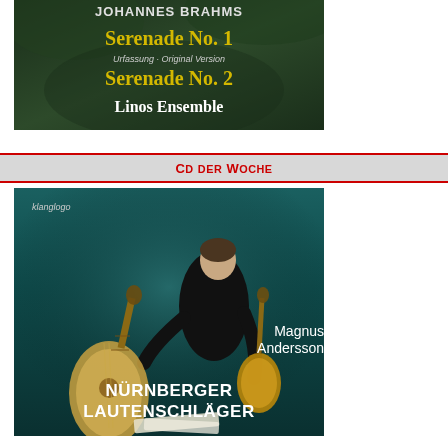[Figure (photo): Album cover for Johannes Brahms Serenade No. 1 (Urfassung / Original Version) and Serenade No. 2 performed by Linos Ensemble, dark green/forest background with yellow and white text]
CD DER WOCHE
[Figure (photo): Album cover 'Nürnberger Lautenschläger' by Magnus Andersson on klanglogo label. Shows a man in black clothing sitting with two historic lutes on a teal/dark background.]
Magnus Andersson, 1981geborener schwedischer Lautenist, hat auf vielen